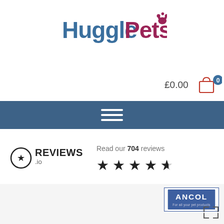[Figure (logo): HugglePets logo with 'Huggle' in blue and 'Pets' in pink/crimson, with a paw print icon]
[Figure (infographic): Shopping cart icon with £0.00 price and badge showing 0]
[Figure (infographic): Dark blue navigation bar with hamburger menu icon (three horizontal lines)]
[Figure (infographic): Reviews.io badge with star rating showing 4.5 stars and text 'Read our 704 reviews']
[Figure (logo): Ancol logo - 'For all your pet products' brand logo in bottom right area]
[Figure (photo): Partial product/content area at bottom of page, light grey background with expand arrows icon at bottom right]